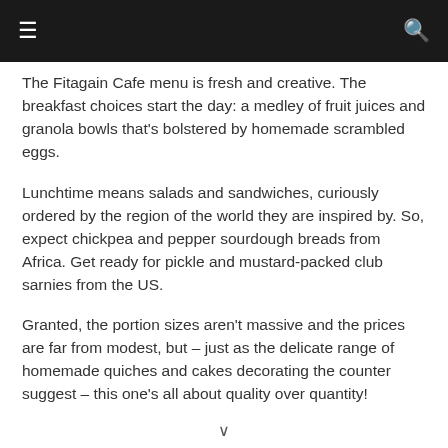≡  🔍
The Fitagain Cafe menu is fresh and creative. The breakfast choices start the day: a medley of fruit juices and granola bowls that's bolstered by homemade scrambled eggs.
Lunchtime means salads and sandwiches, curiously ordered by the region of the world they are inspired by. So, expect chickpea and pepper sourdough breads from Africa. Get ready for pickle and mustard-packed club sarnies from the US.
Granted, the portion sizes aren't massive and the prices are far from modest, but – just as the delicate range of homemade quiches and cakes decorating the counter suggest – this one's all about quality over quantity!